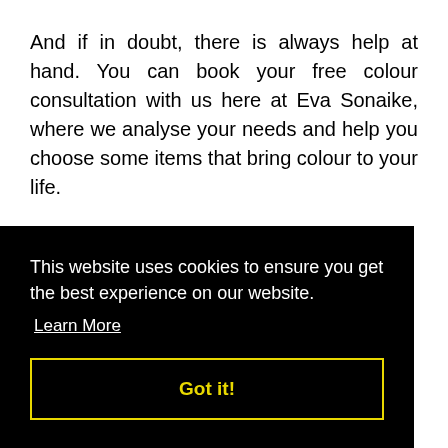And if in doubt, there is always help at hand. You can book your free colour consultation with us here at Eva Sonaike, where we analyse your needs and help you choose some items that bring colour to your life.
This website uses cookies to ensure you get the best experience on our website.
Learn More
Got it!